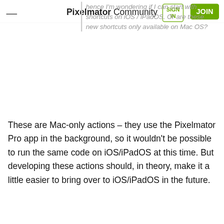Pixelmator Community
hence I'm wondering if I can start with shortcuts on iOS / iPadOS. Or are these new shortcuts only available on Mac OS?
These are Mac-only actions – they use the Pixelmator Pro app in the background, so it wouldn't be possible to run the same code on iOS/iPadOS at this time. But developing these actions should, in theory, make it a little easier to bring over to iOS/iPadOS in the future.
Quote
indiantravelstore